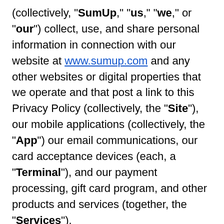(collectively, "SumUp," "us," "we," or "our") collect, use, and share personal information in connection with our website at www.sumup.com and any other websites or digital properties that we operate and that post a link to this Privacy Policy (collectively, the "Site"), our mobile applications (collectively, the "App") our email communications, our card acceptance devices (each, a "Terminal"), and our payment processing, gift card program, and other products and services (together, the "Services").
We may change this Privacy Policy from time to time by posting the updates to this page. We advise you to review this page regularly to stay informed and to make sure that you keep up to date with any changes. If we make material changes to this Privacy Policy, we will post those changes to this Privacy Policy and update the "Last Updated" date above. If required by law, we will notify you about material changes by email, through posting a notification when you login to our website or through our mobile...